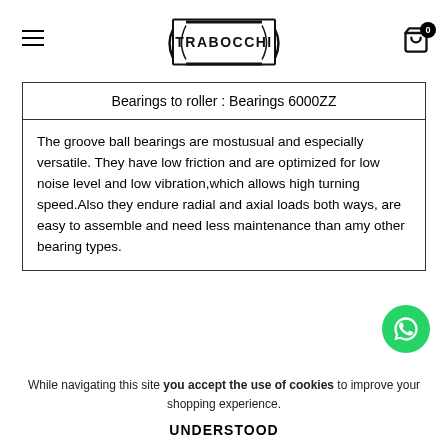TRABOCCHI — navigation header with logo, menu icon, and cart
| Bearings to roller : Bearings 6000ZZ |
| --- |
| The groove ball bearings are mostusual and especially versatile. They have low friction and are optimized for low noise level and low vibration,which allows high turning speed.Also they endure radial and axial loads both ways, are easy to assemble and need less maintenance than amy other bearing types. |
[Figure (other): WhatsApp contact button (green circle with WhatsApp icon)]
While navigating this site you accept the use of cookies to improve your shopping experience.
UNDERSTOOD